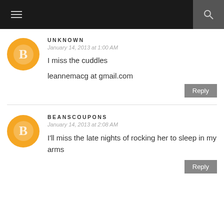Navigation header with hamburger menu and search icon
UNKNOWN
January 14, 2013 at 1:00 AM
I miss the cuddles
leannemacg at gmail.com
Reply
BEANSCOUPONS
January 14, 2013 at 2:08 AM
I'll miss the late nights of rocking her to sleep in my arms
Reply